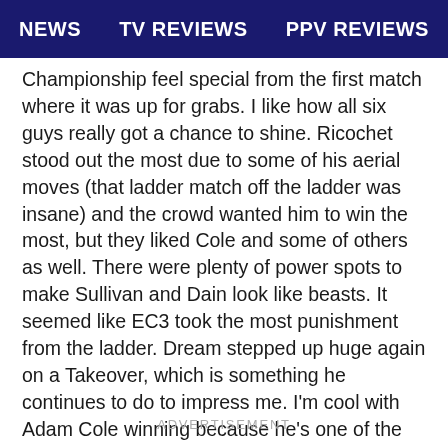NEWS   TV REVIEWS   PPV REVIEWS
Championship feel special from the first match where it was up for grabs. I like how all six guys really got a chance to shine. Ricochet stood out the most due to some of his aerial moves (that ladder match off the ladder was insane) and the crowd wanted him to win the most, but they liked Cole and some of others as well. There were plenty of power spots to make Sullivan and Dain look like beasts. It seemed like EC3 took the most punishment from the ladder. Dream stepped up huge again on a Takeover, which is something he continues to do to impress me. I'm cool with Adam Cole winning because he's one of the best guys on the NXT brand. He's a heel that people still cheer for.
ADVERTISEMENT